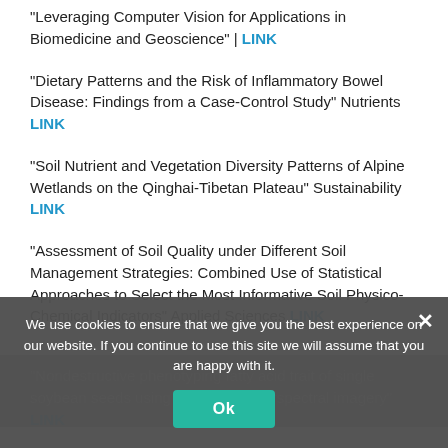"Leveraging Computer Vision for Applications in Biomedicine and Geoscience" | LINK
"Dietary Patterns and the Risk of Inflammatory Bowel Disease: Findings from a Case-Control Study" Nutrients LINK
"Soil Nutrient and Vegetation Diversity Patterns of Alpine Wetlands on the Qinghai-Tibetan Plateau" Sustainability LINK
"Assessment of Soil Quality under Different Soil Management Strategies: Combined Use of Statistical Approaches to Select the Most Informative Soil Physico-Chemical Indicators" Applied Sciences LINK
"Nondestructive phenotyping fatty acid trait of single soybean seeds using reflective hyperspectral imagery" LINK
We use cookies to ensure that we give you the best experience on our website. If you continue to use this site we will assume that you are happy with it.